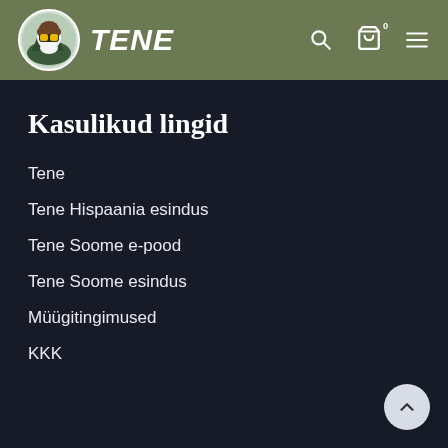[Figure (logo): TENE brand logo with eagle mascot wearing sunglasses on olive green header bar]
Kasulikud lingid
Tene
Tene Hispaania esindus
Tene Soome e-pood
Tene Soome esindus
Müügitingimused
KKK